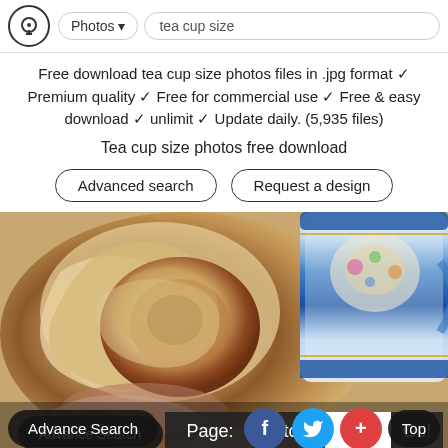Photos  tea cup size
Free download tea cup size photos files in .jpg format ✓ Premium quality ✓ Free for commercial use ✓ Free & easy download ✓ unlimit ✓ Update daily. (5,935 files)
Tea cup size photos free download
Advanced search  |  Request a design
[Figure (photo): Close-up photo of a cream/ivory rose with dark edges, in front of a blue and white floral porcelain tea cup]
Page: Stop  1  Go!
Advance Search  f  (twitter)  +  Top